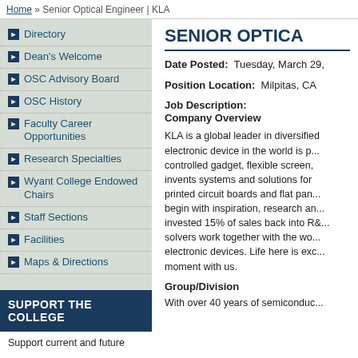Home » Senior Optical Engineer | KLA
Directory
Dean's Welcome
OSC Advisory Board
OSC History
Faculty Career Opportunities
Research Specialties
Wyant College Endowed Chairs
Staff Sections
Facilities
Maps & Directions
SUPPORT THE COLLEGE
Support current and future
SENIOR OPTICAL ENGINEER | KLA
Date Posted:  Tuesday, March 29,
Position Location:  Milpitas, CA
Job Description:
Company Overview
KLA is a global leader in diversified electronic device in the world is p... controlled gadget, flexible screen, invents systems and solutions for printed circuit boards and flat pan... begin with inspiration, research an... invested 15% of sales back into R&... solvers work together with the wo... electronic devices. Life here is exc... moment with us.
Group/Division
With over 40 years of semiconduc...